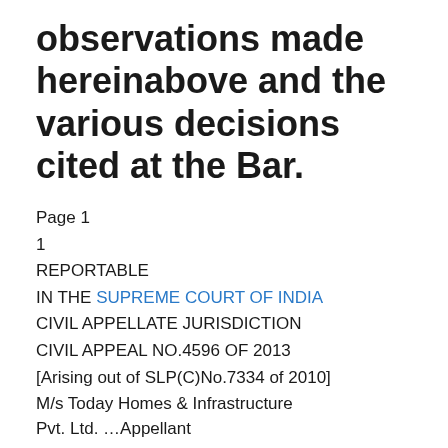observations made hereinabove and the various decisions cited at the Bar.
Page 1
1
REPORTABLE
IN THE SUPREME COURT OF INDIA
CIVIL APPELLATE JURISDICTION
CIVIL APPEAL NO.4596 OF 2013
[Arising out of SLP(C)No.7334 of 2010]
M/s Today Homes & Infrastructure Pvt. Ltd. …Appellant
Vs.
Ludhiana Improvement Trust & Anr. …Respondents
WITH